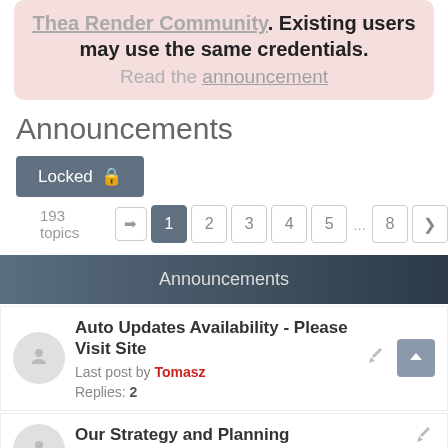Thea Render Community. Existing users may use the same credentials. Read the announcement
Announcements
Locked
193 topics  1 2 3 4 5 ... 8 >
Announcements
Auto Updates Availability - Please Visit Site
Last post by Tomasz
Replies: 2
Our Strategy and Planning